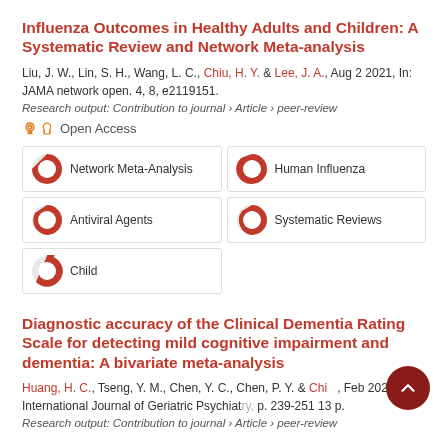Influenza Outcomes in Healthy Adults and Children: A Systematic Review and Network Meta-analysis
Liu, J. W., Lin, S. H., Wang, L. C., Chiu, H. Y. & Lee, J. A., Aug 2 2021, In: JAMA network open. 4, 8, e2119151.
Research output: Contribution to journal › Article › peer-review
Open Access
Network Meta-Analysis
Human Influenza
Antiviral Agents
Systematic Reviews
Child
Diagnostic accuracy of the Clinical Dementia Rating Scale for detecting mild cognitive impairment and dementia: A bivariate meta-analysis
Huang, H. C., Tseng, Y. M., Chen, Y. C., Chen, P. Y. & Chiu, Feb 2021, In: International Journal of Geriatric Psychiatry, p. 239-251 13 p.
Research output: Contribution to journal › Article › peer-review